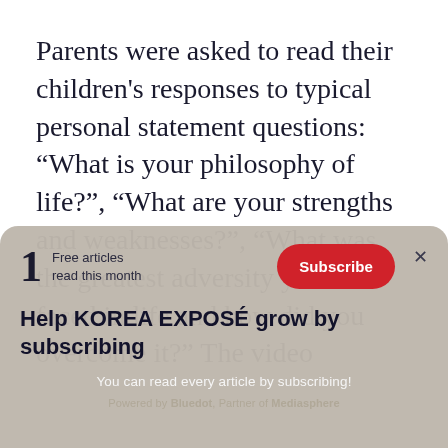Parents were asked to read their children's responses to typical personal statement questions: “What is your philosophy of life?”, “What are your strengths and weaknesses?”, “What was the greatest adversity you’ve faced in life and how did you overcome it?” The video
1 Free articles read this month
Subscribe
×
Help KOREA EXPOSÉ grow by subscribing
You can read every article by subscribing!
Powered by Bluedot, Partner of Mediasphere